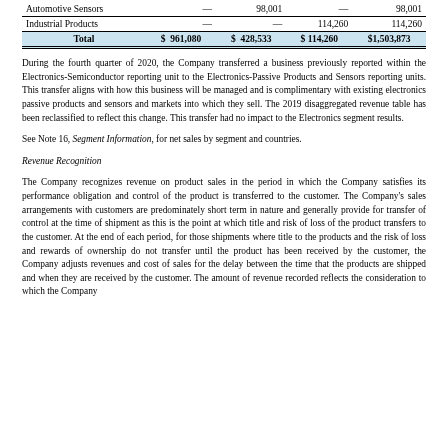|  |  |  |  |  |
| --- | --- | --- | --- | --- |
| Automotive Sensors | — | 98,001 | — | 98,001 |
| Industrial Products | — | — | 114,260 | 114,260 |
| Total | $ 961,080 | $ 428,533 | $ 114,260 | $1,503,873 |
During the fourth quarter of 2020, the Company transferred a business previously reported within the Electronics-Semiconductor reporting unit to the Electronics-Passive Products and Sensors reporting units. This transfer aligns with how this business will be managed and is complimentary with existing electronics passive products and sensors and markets into which they sell. The 2019 disaggregated revenue table has been reclassified to reflect this change. This transfer had no impact to the Electronics segment results.
See Note 16, Segment Information, for net sales by segment and countries.
Revenue Recognition
The Company recognizes revenue on product sales in the period in which the Company satisfies its performance obligation and control of the product is transferred to the customer. The Company's sales arrangements with customers are predominately short term in nature and generally provide for transfer of control at the time of shipment as this is the point at which title and risk of loss of the product transfers to the customer. At the end of each period, for those shipments where title to the products and the risk of loss and rewards of ownership do not transfer until the product has been received by the customer, the Company adjusts revenues and cost of sales for the delay between the time that the products are shipped and when they are received by the customer. The amount of revenue recorded reflects the consideration to which the Company